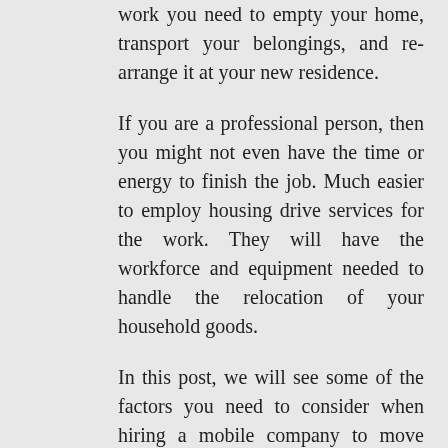work you need to empty your home, transport your belongings, and re-arrange it at your new residence.
If you are a professional person, then you might not even have the time or energy to finish the job. Much easier to employ housing drive services for the work. They will have the workforce and equipment needed to handle the relocation of your household goods.
In this post, we will see some of the factors you need to consider when hiring a mobile company to move your home. You can get the best moving & packing services for Rockingham, Perth, WA locations at cheap and
[Figure (infographic): Social media sidebar icons: Facebook (blue circle with f), Google+ (red circle with g+), Twitter (light blue circle with bird), plus/share (dark blue circle with +)]